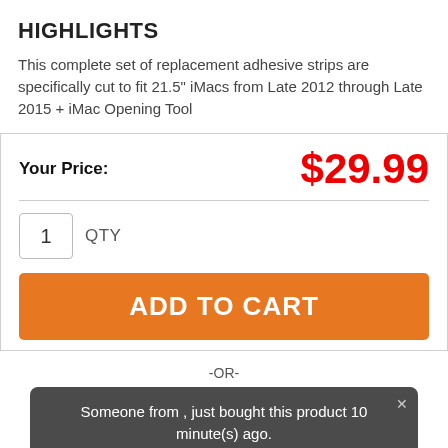HIGHLIGHTS
This complete set of replacement adhesive strips are specifically cut to fit 21.5" iMacs from Late 2012 through Late 2015 + iMac Opening Tool
Your Price: $29.99
1 QTY
ADD TO CART
-OR-
Someone from , just bought this product 10 minute(s) ago.
Always secure shopping.